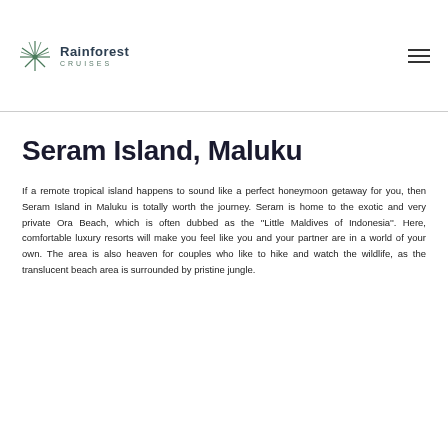Rainforest Cruises
Seram Island, Maluku
If a remote tropical island happens to sound like a perfect honeymoon getaway for you, then Seram Island in Maluku is totally worth the journey. Seram is home to the exotic and very private Ora Beach, which is often dubbed as the ''Little Maldives of Indonesia''. Here, comfortable luxury resorts will make you feel like you and your partner are in a world of your own. The area is also heaven for couples who like to hike and watch the wildlife, as the translucent beach area is surrounded by pristine jungle.